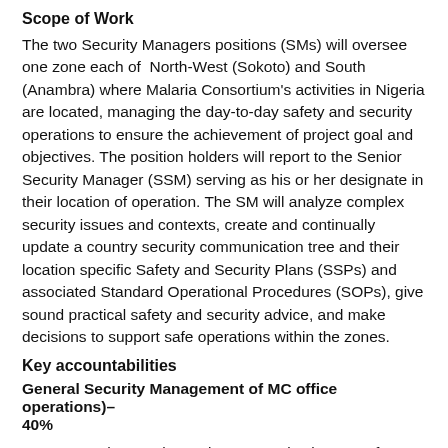Scope of Work
The two Security Managers positions (SMs) will oversee one zone each of North-West (Sokoto) and South (Anambra) where Malaria Consortium's activities in Nigeria are located, managing the day-to-day safety and security operations to ensure the achievement of project goal and objectives. The position holders will report to the Senior Security Manager (SSM) serving as his or her designate in their location of operation. The SM will analyze complex security issues and contexts, create and continually update a country security communication tree and their location specific Safety and Security Plans (SSPs) and associated Standard Operational Procedures (SOPs), give sound practical safety and security advice, and make decisions to support safe operations within the zones.
Key accountabilities
General Security Management of MC office operations)–40%
Create the zonal security communications tree for their zones and ensure that it is always updated.